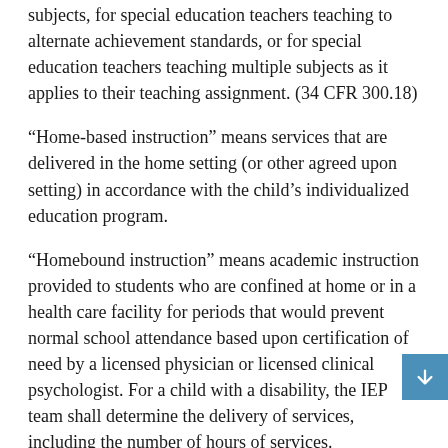subjects, for special education teachers teaching to alternate achievement standards, or for special education teachers teaching multiple subjects as it applies to their teaching assignment. (34 CFR 300.18)
"Home-based instruction" means services that are delivered in the home setting (or other agreed upon setting) in accordance with the child's individualized education program.
"Homebound instruction" means academic instruction provided to students who are confined at home or in a health care facility for periods that would prevent normal school attendance based upon certification of need by a licensed physician or licensed clinical psychologist. For a child with a disability, the IEP team shall determine the delivery of services, including the number of hours of services. (Regulations Establishing Standards for Accrediting Public Schools in Virginia, 8VAC20-131-180)
"Home instruction" means instruction of a child or